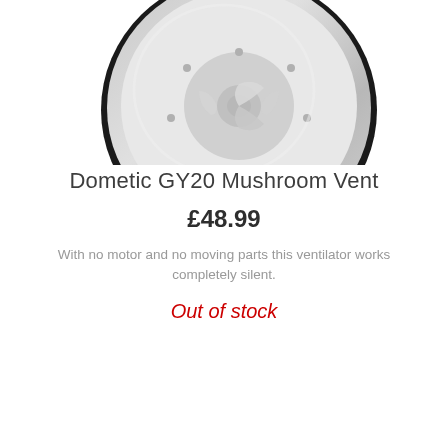[Figure (photo): Photo of a Dometic GY20 Mushroom Vent ventilator, shown from below/inside view, circular shape with fan blades visible, white/silver finish with dark outer ring, on white background]
Dometic GY20 Mushroom Vent
£48.99
With no motor and no moving parts this ventilator works completely silent.
Out of stock